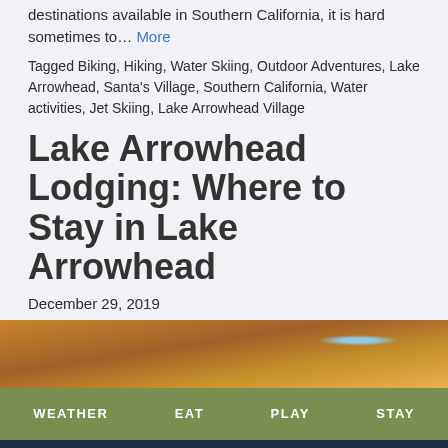destinations available in Southern California, it is hard sometimes to… More
Tagged Biking, Hiking, Water Skiing, Outdoor Adventures, Lake Arrowhead, Santa's Village, Southern California, Water activities, Jet Skiing, Lake Arrowhead Village
Lake Arrowhead Lodging: Where to Stay in Lake Arrowhead
December 29, 2019
[Figure (photo): Interior wooden cabin ceiling with skylight, warm wood tones]
WEATHER  EAT  PLAY  STAY
I Love Lake Arrowhead logo with phone button and hamburger menu